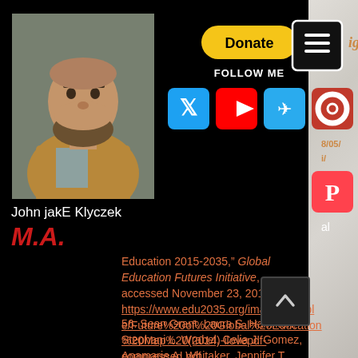[Figure (photo): Headshot photo of John jakE Klyczek, a man with a beard wearing a tan blazer and patterned shirt]
John jakE Klyczek
M.A.
[Figure (illustration): Donate button (yellow/gold pill shape), Follow Me label, hamburger menu icon (white lines on dark box), and social media icons for Twitter, YouTube, Telegram, and another platform, plus Patreon icon. Partial text reading 'digital' visible on right.]
Education 2015-2035," Global Education Futures Initiative, accessed November 23, 2018, https://www.edu2035.org/images/people/Future%20of%20Global%20Education%20Map%20(2014)-ilovepdf-compressed.pdf
56. Sean Grant, Laura S. Hamilton, Stephani L. Wrabel, Celia J. Gomez, Anamarie A. Whitaker, Jennifer T. Leschitz,